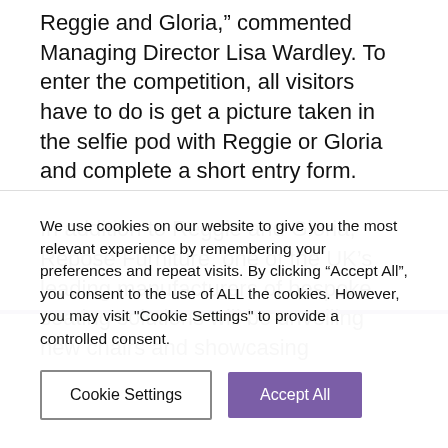Reggie and Gloria,” commented Managing Director Lisa Wardley. To enter the competition, all visitors have to do is get a picture taken in the selfie pod with Reggie or Gloria and complete a short entry form.
In addition to Reggie and Gloria, Repose Furniture, one of the UK’s leading manufacturers of bespoke seating solutions will be unveiling new chairs and showcasing
We use cookies on our website to give you the most relevant experience by remembering your preferences and repeat visits. By clicking “Accept All”, you consent to the use of ALL the cookies. However, you may visit "Cookie Settings" to provide a controlled consent.